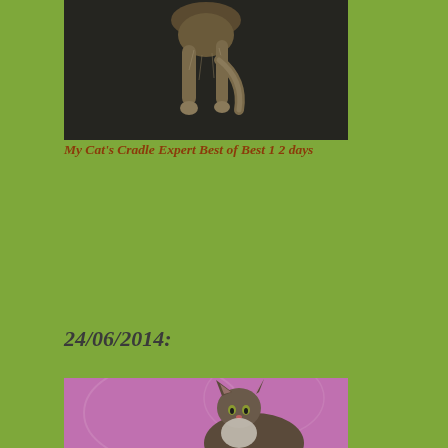[Figure (photo): A cat photographed from below/behind against a dark background, showing its fluffy belly and dangling legs]
My Cat's Cradle Expert Best of Best 1 2 days
24/06/2014:
[Figure (photo): A long-haired tabby cat sitting upright against a purple/pink background, looking directly at the camera]